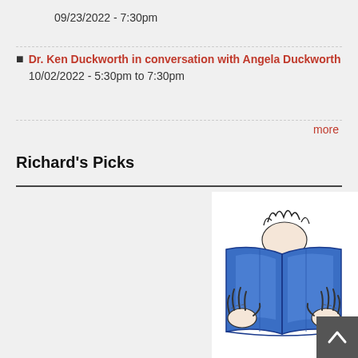09/23/2022 - 7:30pm
Dr. Ken Duckworth in conversation with Angela Duckworth
10/02/2022 - 5:30pm to 7:30pm
more
Richard's Picks
[Figure (illustration): Illustration of a person holding and reading a large open blue book, with hands visible on both sides and curly hair peeking over the top of the book.]